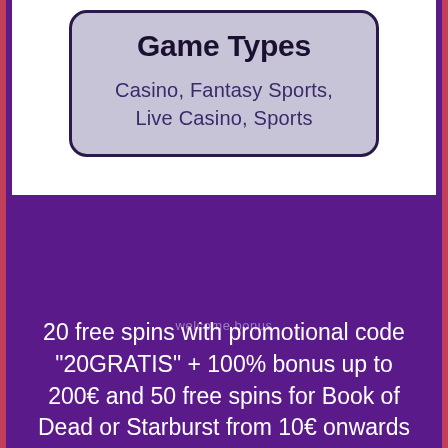Game Types
Casino, Fantasy Sports, Live Casino, Sports
welcome bonus
20 free spins with promotional code "20GRATIS" + 100% bonus up to 200€ and 50 free spins for Book of Dead or Starburst from 10€ onwards